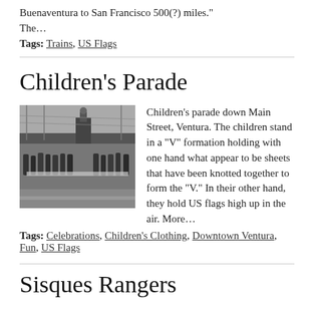Buenaventura to San Francisco 500(?) miles."
The…
Tags: Trains, US Flags
Children's Parade
[Figure (photo): Black and white photograph of a children's parade down Main Street, Ventura. Children stand in a V formation holding sheets knotted together and US flags.]
Children's parade down Main Street, Ventura. The children stand in a "V" formation holding with one hand what appear to be sheets that have been knotted together to form the "V." In their other hand, they hold US flags high up in the air. More…
Tags: Celebrations, Children's Clothing, Downtown Ventura, Fun, US Flags
Sisques Rangers